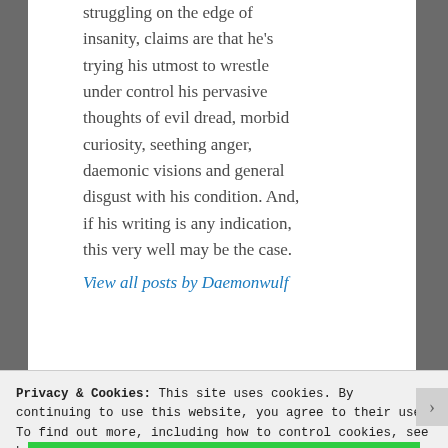struggling on the edge of insanity, claims are that he's trying his utmost to wrestle under control his pervasive thoughts of evil dread, morbid curiosity, seething anger, daemonic visions and general disgust with his condition. And, if his writing is any indication, this very well may be the case.
View all posts by Daemonwulf
Privacy & Cookies: This site uses cookies. By continuing to use this website, you agree to their use.
To find out more, including how to control cookies, see here: Cookie Policy
Close and accept